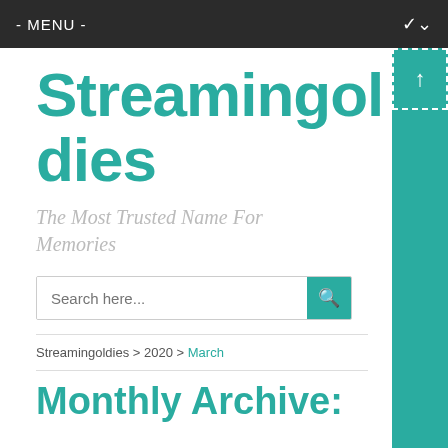- MENU -
Streamingoldies
The Most Trusted Name For Memories
Search here...
Streamingoldies > 2020 > March
Monthly Archive: